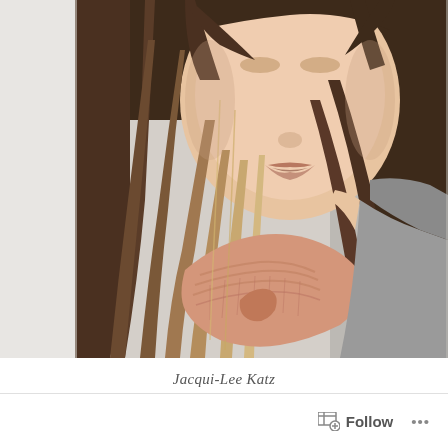[Figure (photo): Close-up portrait of a young woman with long ombre brown-to-blonde hair, wearing a pink knit scarf and grey t-shirt, photographed against a light grey wall background.]
Jacqui-Lee Katz
Follow
...